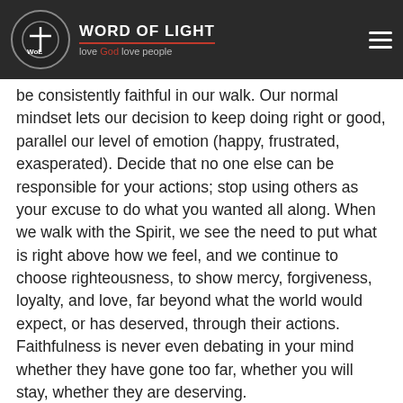Word of Light — love God love people
be consistently faithful in our walk. Our normal mindset lets our decision to keep doing right or good, parallel our level of emotion (happy, frustrated, exasperated). Decide that no one else can be responsible for your actions; stop using others as your excuse to do what you wanted all along. When we walk with the Spirit, we see the need to put what is right above how we feel, and we continue to choose righteousness, to show mercy, forgiveness, loyalty, and love, far beyond what the world would expect, or has deserved, through their actions. Faithfulness is never even debating in your mind whether they have gone too far, whether you will stay, whether they are deserving.
5) Goodness: To really be able to do this, you have to see and love the Nature of God; you have to so appreciate His love and mercy, that you want to be Him